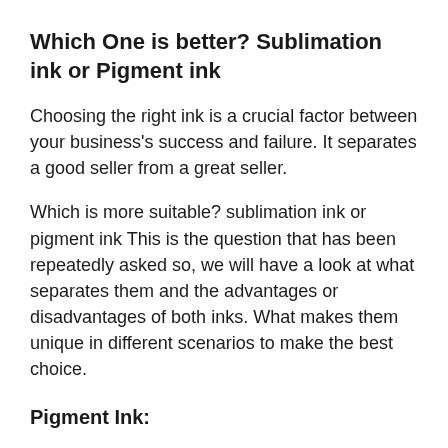Which One is better? Sublimation ink or Pigment ink
Choosing the right ink is a crucial factor between your business's success and failure. It separates a good seller from a great seller.
Which is more suitable? sublimation ink or pigment ink This is the question that has been repeatedly asked so, we will have a look at what separates them and the advantages or disadvantages of both inks. What makes them unique in different scenarios to make the best choice.
Pigment Ink:
Pigment ink is special it has tiny little color particles that is great for coloring and you can make many different shades of colors with it. 8 pigment ink color is available that can be used for several purposes. It can be used in cosmetics,